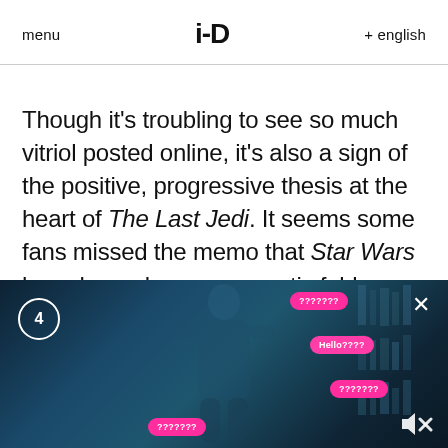menu   i-D   + english
Though it's troubling to see so much vitriol posted online, it's also a sign of the positive, progressive thesis at the heart of The Last Jedi. It seems some fans missed the memo that Star Wars has always been a romantic fable about fighting an authoritarian regime in the face of
[Figure (photo): Dark teal-toned screenshot from a video player showing a person holding a phone with overlaid pink chat bubbles reading '???????' in multiple positions and 'Hello????' in one bubble. A circle badge with '4' appears in the lower-left corner, an X close button in the upper-right, and a mute icon in the lower-right.]